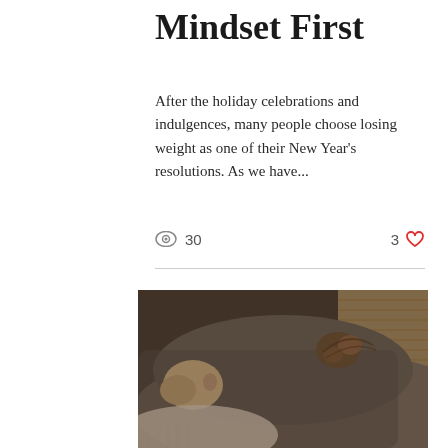Mindset First
After the holiday celebrations and indulgences, many people choose losing weight as one of their New Year's resolutions. As we have...
30 views  3 likes
[Figure (photo): Person lying face-down on a couch or sofa, seen from behind, with hair in a bun, wearing a grey sweater, with a window with blinds in the background]